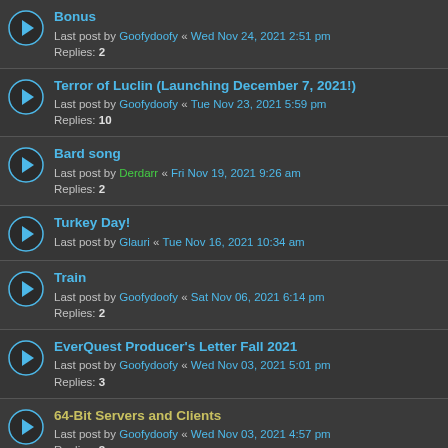Bonus — Last post by Goofydoofy « Wed Nov 24, 2021 2:51 pm — Replies: 2
Terror of Luclin (Launching December 7, 2021!) — Last post by Goofydoofy « Tue Nov 23, 2021 5:59 pm — Replies: 10
Bard song — Last post by Derdarr « Fri Nov 19, 2021 9:26 am — Replies: 2
Turkey Day! — Last post by Glauri « Tue Nov 16, 2021 10:34 am
Train — Last post by Goofydoofy « Sat Nov 06, 2021 6:14 pm — Replies: 2
EverQuest Producer's Letter Fall 2021 — Last post by Goofydoofy « Wed Nov 03, 2021 5:01 pm — Replies: 3
64-Bit Servers and Clients — Last post by Goofydoofy « Wed Nov 03, 2021 4:57 pm — Replies: 3
How many are in the Beta? — Last post by Goofydoofy « Tue Nov 02, 2021 3:53 pm